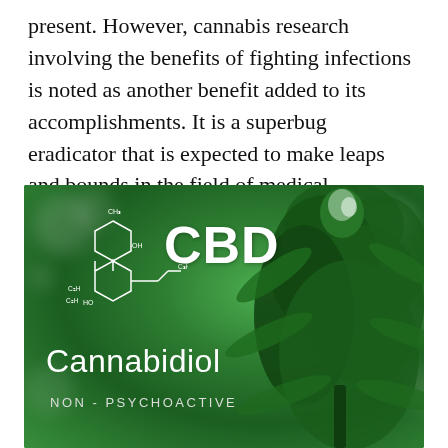present. However, cannabis research involving the benefits of fighting infections is noted as another benefit added to its accomplishments. It is a superbug eradicator that is expected to make leaps and bounds in the field of medical marijuana research.
[Figure (photo): Photo of a cannabis plant in the background (blurred green bokeh), with a white CBD chemical structure diagram overlaid on the left, the large text 'CBD' in white, below it 'Cannabidiol' in white, and 'NON - PSYCHOACTIVE' in smaller grey text at the bottom.]